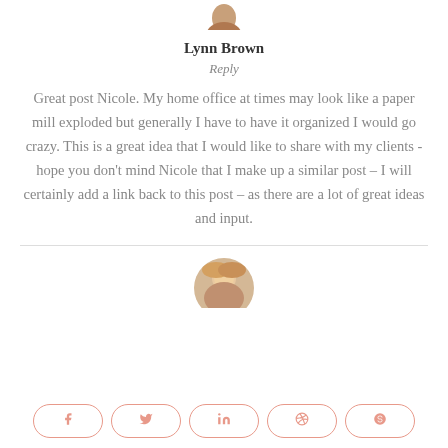[Figure (photo): Partial circular avatar image of Lynn Brown at top of page]
Lynn Brown
Reply
Great post Nicole. My home office at times may look like a paper mill exploded but generally I have to have it organized I would go crazy. This is a great idea that I would like to share with my clients -hope you don't mind Nicole that I make up a similar post – I will certainly add a link back to this post – as there are a lot of great ideas and input.
[Figure (photo): Circular avatar photo of a blonde woman at bottom of page]
[Figure (infographic): Row of social share buttons: Facebook, Twitter, LinkedIn, Pinterest, Reddit]